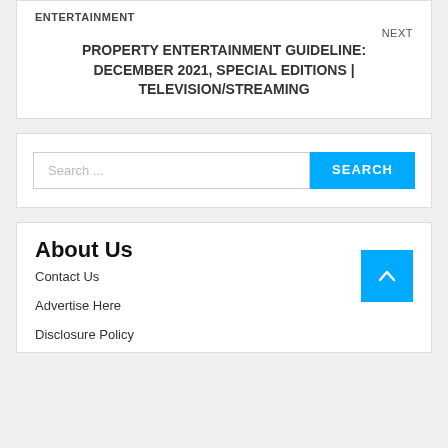ENTERTAINMENT
NEXT
PROPERTY ENTERTAINMENT GUIDELINE: DECEMBER 2021, SPECIAL EDITIONS | TELEVISION/STREAMING
Search ...
SEARCH
About Us
Contact Us
Advertise Here
Disclosure Policy